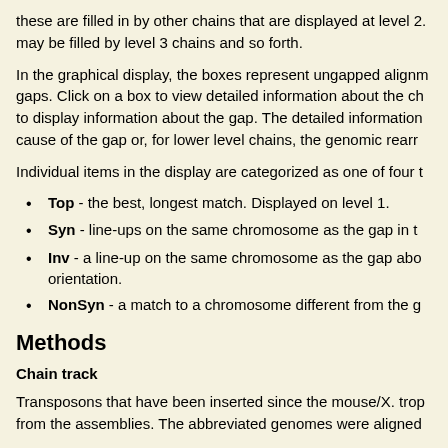these are filled in by other chains that are displayed at level 2. may be filled by level 3 chains and so forth.
In the graphical display, the boxes represent ungapped alignments and the lines between them represent gaps. Click on a box to view detailed information about the chain. Click between the box to display information about the gap. The detailed information includes the score and the cause of the gap or, for lower level chains, the genomic rearrangement that caused the gap.
Individual items in the display are categorized as one of four types:
Top - the best, longest match. Displayed on level 1.
Syn - line-ups on the same chromosome as the gap in the reference.
Inv - a line-up on the same chromosome as the gap above but in the opposite orientation.
NonSyn - a match to a chromosome different from the gap chromosome.
Methods
Chain track
Transposons that have been inserted since the mouse/X. trop divergence were removed from the assemblies. The abbreviated genomes were aligned